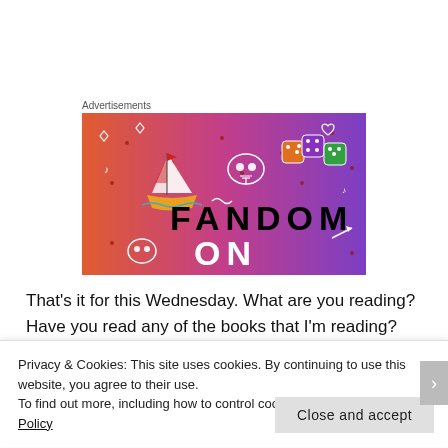Advertisements
[Figure (illustration): Fandom advertisement banner with colorful gradient background (orange to purple), featuring a sailboat, skull, dice, and the text FANDOM ON in bold black letters with decorative icons and doodles scattered around.]
That's it for this Wednesday. What are you reading? Have you read any of the books that I'm reading? What did you think?
Privacy & Cookies: This site uses cookies. By continuing to use this website, you agree to their use.
To find out more, including how to control cookies, see here: Cookie Policy
Close and accept